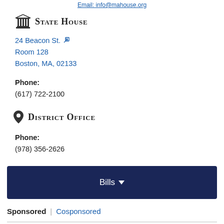Email: info@mahouse.org
State House
24 Beacon St.
Room 128
Boston, MA, 02133
Phone:
(617) 722-2100
District Office
Phone:
(978) 356-2626
Bills
Sponsored | Cosponsored